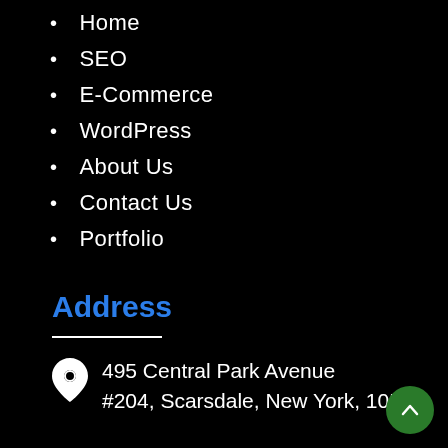Home
SEO
E-Commerce
WordPress
About Us
Contact Us
Portfolio
Address
495 Central Park Avenue #204, Scarsdale, New York, 10583